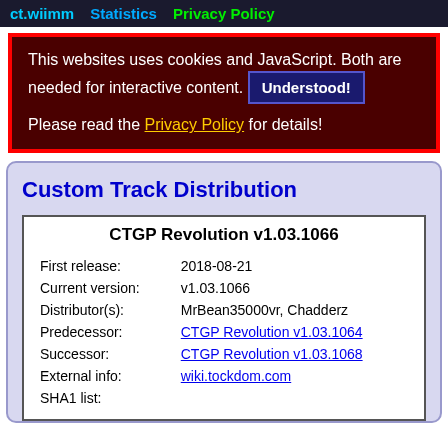ct.wiimm   Statistics   Privacy Policy
This websites uses cookies and JavaScript. Both are needed for interactive content. [Understood!] Please read the Privacy Policy for details!
Custom Track Distribution
| CTGP Revolution v1.03.1066 |
| First release: | 2018-08-21 |
| Current version: | v1.03.1066 |
| Distributor(s): | MrBean35000vr, Chadderz |
| Predecessor: | CTGP Revolution v1.03.1064 |
| Successor: | CTGP Revolution v1.03.1068 |
| External info: | wiki.tockdom.com |
| SHA1 list: |  |